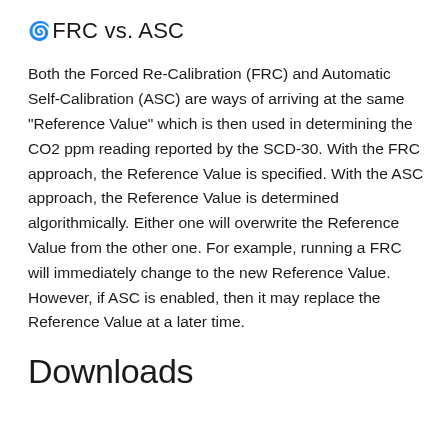FRC vs. ASC
Both the Forced Re-Calibration (FRC) and Automatic Self-Calibration (ASC) are ways of arriving at the same "Reference Value" which is then used in determining the CO2 ppm reading reported by the SCD-30. With the FRC approach, the Reference Value is specified. With the ASC approach, the Reference Value is determined algorithmically. Either one will overwrite the Reference Value from the other one. For example, running a FRC will immediately change to the new Reference Value. However, if ASC is enabled, then it may replace the Reference Value at a later time.
Downloads